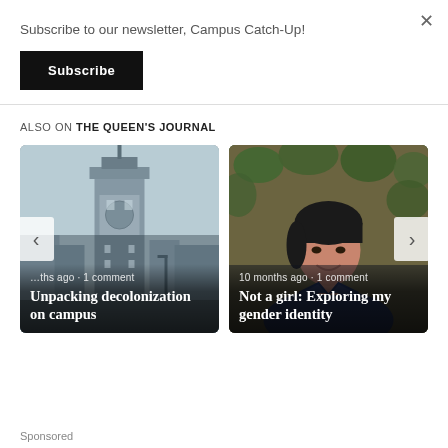×
Subscribe to our newsletter, Campus Catch-Up!
Subscribe
ALSO ON THE QUEEN'S JOURNAL
[Figure (photo): Clock tower building photo with text overlay: '...ths ago · 1 comment' and article title 'Unpacking decolonization on campus']
[Figure (photo): Portrait photo of a person smiling with text overlay: '10 months ago · 1 comment' and article title 'Not a girl: Exploring my gender identity']
Sponsored